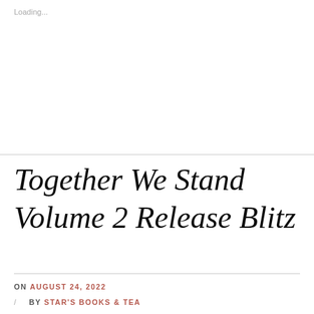Loading...
Together We Stand Volume 2 Release Blitz
ON AUGUST 24, 2022 / BY STAR'S BOOKS & TEA / LEAVE A COMMENT